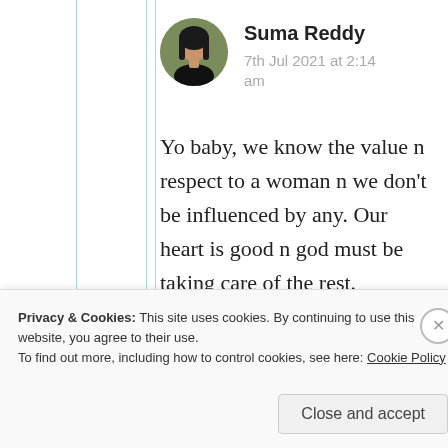[Figure (photo): Circular avatar photo of Suma Reddy, a woman with long dark hair]
Suma Reddy
7th Jul 2021 at 2:14 am
Yo baby, we know the value n respect to a woman n we don't be influenced by any. Our heart is good n god must be taking care of the rest.
Privacy & Cookies: This site uses cookies. By continuing to use this website, you agree to their use.
To find out more, including how to control cookies, see here: Cookie Policy
Close and accept